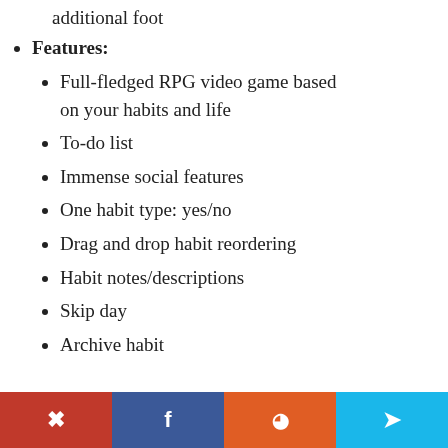additional foot
Features:
Full-fledged RPG video game based on your habits and life
To-do list
Immense social features
One habit type: yes/no
Drag and drop habit reordering
Habit notes/descriptions
Skip day
Archive habit
Pinterest | Facebook | Reddit | Twitter